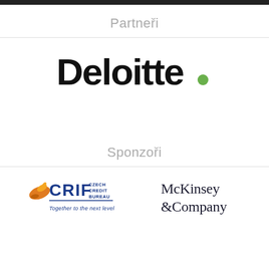Partneři
[Figure (logo): Deloitte logo with black bold text 'Deloitte' and a green dot at the end]
Sponzoři
[Figure (logo): CRIF Czech Credit Bureau logo with orange bird icon and text 'Together to the next level']
[Figure (logo): McKinsey & Company logo in dark navy serif font]